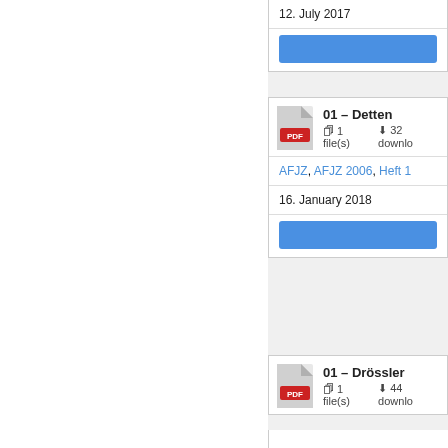12. July 2017
01 – Detten
1 file(s)  32 downloads
AFJZ, AFJZ 2006, Heft 1
16. January 2018
01 – Drössler
1 file(s)  44 downloads
AFJZ, AFJZ 2007, Heft 7&8
12. July 2017